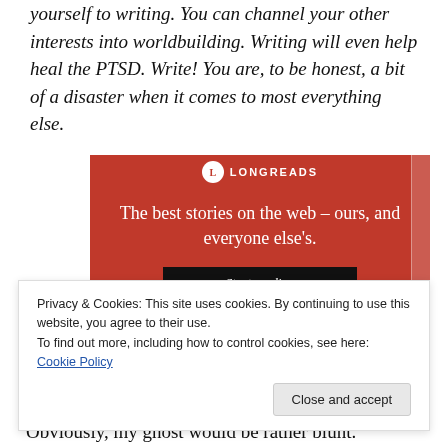yourself to writing. You can channel your other interests into worldbuilding. Writing will even help heal the PTSD. Write! You are, to be honest, a bit of a disaster when it comes to most everything else.
[Figure (other): Longreads advertisement banner with red background showing the text 'The best stories on the web – ours, and everyone else's.' with a 'Start reading' button]
Privacy & Cookies: This site uses cookies. By continuing to use this website, you agree to their use.
To find out more, including how to control cookies, see here: Cookie Policy
Obviously, my ghost would be rather blunt.